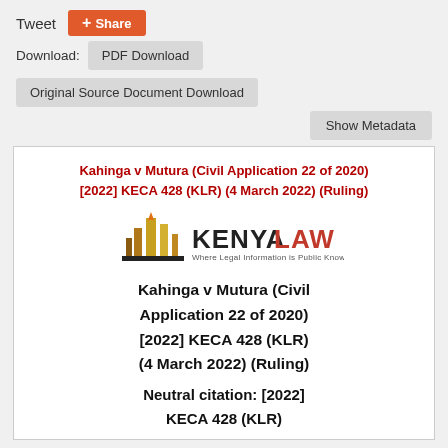Tweet
Share
Download:  PDF Download  Original Source Document Download  Show Metadata
Kahinga v Mutura (Civil Application 22 of 2020) [2022] KECA 428 (KLR) (4 March 2022) (Ruling)
[Figure (logo): Kenya Law logo with stylized building/columns icon and text 'KENYA LAW' with tagline 'Where Legal Information is Public Knowledge']
Kahinga v Mutura (Civil Application 22 of 2020) [2022] KECA 428 (KLR) (4 March 2022) (Ruling)
Neutral citation: [2022] KECA 428 (KLR)